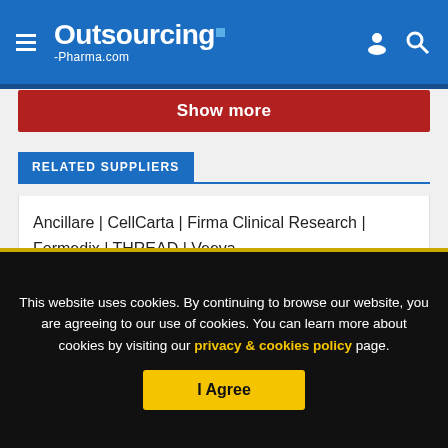Outsourcing-Pharma.com
Show more
RELATED SUPPLIERS
Ancillare | CellCarta | Firma Clinical Research | Formedix | THREAD | Veeva
This website uses cookies. By continuing to browse our website, you are agreeing to our use of cookies. You can learn more about cookies by visiting our privacy & cookies policy page.
I Agree